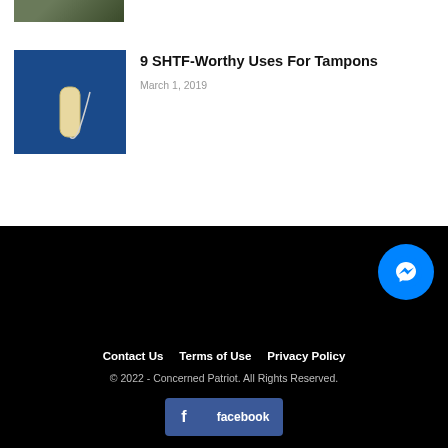[Figure (photo): Partial image of outdoor/nature scene at top of page]
[Figure (photo): Thumbnail image of a tampon on blue background]
9 SHTF-Worthy Uses For Tampons
March 1, 2019
Contact Us   Terms of Use   Privacy Policy
© 2022 - Concerned Patriot. All Rights Reserved.
facebook